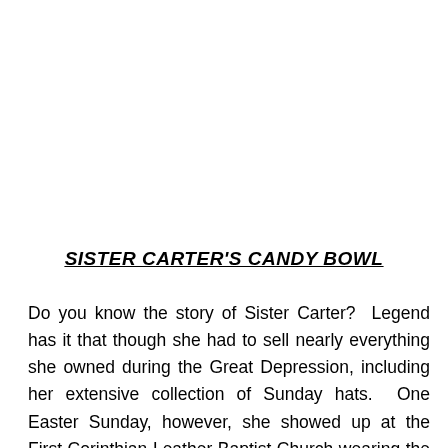SISTER CARTER'S CANDY BOWL
Do you know the story of Sister Carter?  Legend has it that though she had to sell nearly everything she owned during the Great Depression, including her extensive collection of Sunday hats.  One Easter Sunday, however, she showed up at the First Corinthian Leather Baptist Church wearing the most beautiful hat anyone had ever seen, and when